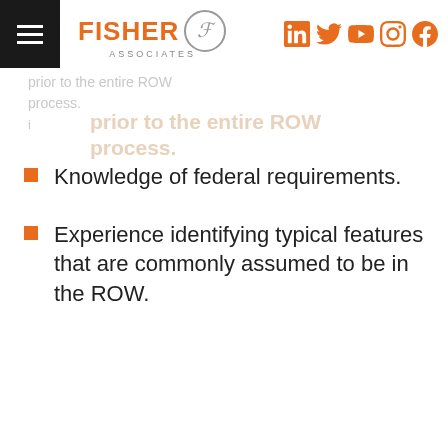Fisher Associates | LinkedIn, Twitter, YouTube, Instagram, Facebook
With Fisher, you get the following benefits: ... prior to the entire ROW process.
Knowledge of federal requirements.
Experience identifying typical features that are commonly assumed to be in the ROW.